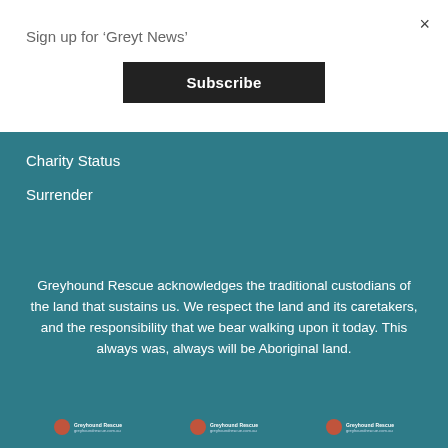Sign up for ‘Greyt News’
Subscribe
×
Charity Status
Surrender
Greyhound Rescue acknowledges the traditional custodians of the land that sustains us. We respect the land and its caretakers, and the responsibility that we bear walking upon it today. This always was, always will be Aboriginal land.
[Figure (logo): Three Greyhound Rescue logo instances shown at bottom of page]